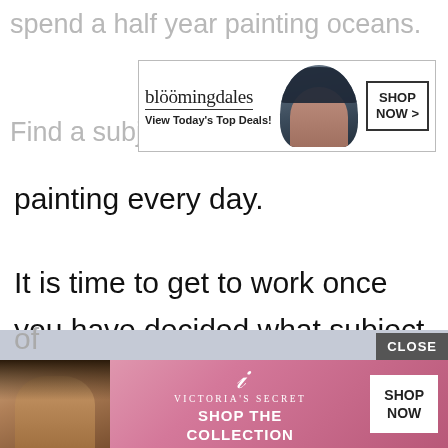spend a half year painting oceans.
[Figure (screenshot): Bloomingdale's advertisement banner showing logo, 'View Today's Top Deals!' text, a woman with a dark hat, and a 'SHOP NOW >' button]
Find a subject that you would enjoy painting every day.
It is time to get to work once you have decided what subject matters you will be creating.
After you have dedicated a fair amount of time to your painting, you will be
[Figure (screenshot): Victoria's Secret advertisement banner with a woman, VS logo swirl, 'SHOP THE COLLECTION' text, and 'SHOP NOW' button, with a CLOSE button overlay]